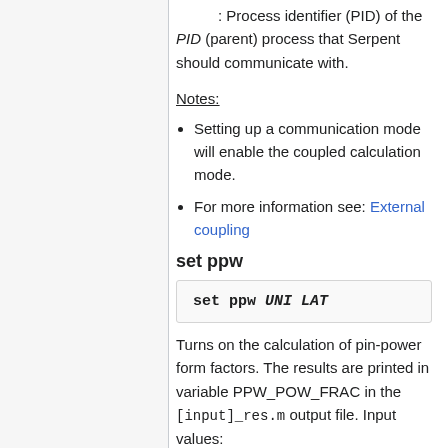: Process identifier (PID) of the PID (parent) process that Serpent should communicate with.
Notes:
Setting up a communication mode will enable the coupled calculation mode.
For more information see: External coupling
set ppw
set ppw UNI LAT
Turns on the calculation of pin-power form factors. The results are printed in variable PPW_POW_FRAC in the [input]_res.m output file. Input values: